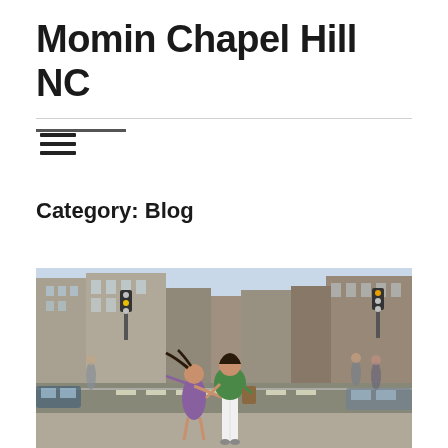Momin Chapel Hill NC
[Figure (other): Navigation bar with dark accent underline on left and light gray full-width rule, with hamburger menu icon (three horizontal lines) below]
Category: Blog
[Figure (photo): Street photo of a woman in a green top and white pants holding hands with a young girl in a purple dress, crossing a busy urban intersection with tall city buildings and traffic in background]